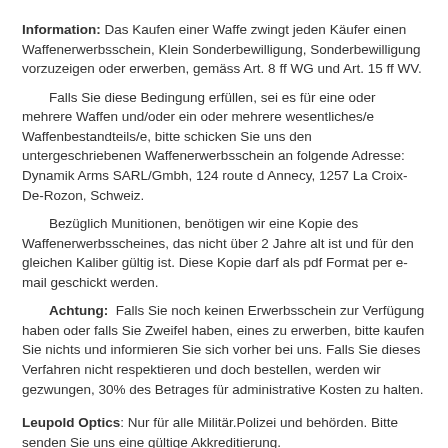Information: Das Kaufen einer Waffe zwingt jeden Käufer einen Waffenerwerbsschein, Klein Sonderbewilligung, Sonderbewilligung vorzuzeigen oder erwerben, gemäss Art. 8 ff WG und Art. 15 ff WV.
Falls Sie diese Bedingung erfüllen, sei es für eine oder mehrere Waffen und/oder ein oder mehrere wesentliches/e Waffenbestandteils/e, bitte schicken Sie uns den untergeschriebenen Waffenerwerbsschein an folgende Adresse: Dynamik Arms SARL/Gmbh, 124 route d Annecy, 1257 La Croix-De-Rozon, Schweiz.
Bezüglich Munitionen, benötigen wir eine Kopie des Waffenerwerbsscheines, das nicht über 2 Jahre alt ist und für den gleichen Kaliber gültig ist. Diese Kopie darf als pdf Format per e-mail geschickt werden.
Achtung: Falls Sie noch keinen Erwerbsschein zur Verfügung haben oder falls Sie Zweifel haben, eines zu erwerben, bitte kaufen Sie nichts und informieren Sie sich vorher bei uns. Falls Sie dieses Verfahren nicht respektieren und doch bestellen, werden wir gezwungen, 30% des Betrages für administrative Kosten zu halten.
Leupold Optics: Nur für alle Militär.Polizei und behörden. Bitte senden Sie uns eine gültige Akkreditierung.
Exporthinweis: Bestimmte Artikel unterliegen der Exportkontrolle durch